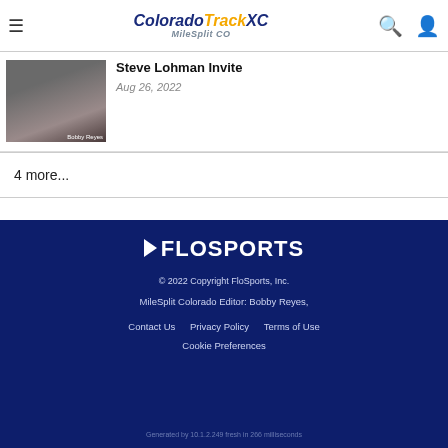Colorado Track XC MileSplit CO — navigation header with hamburger, logo, search, and user icons
[Figure (photo): Photo of a female runner on a track, with Bobby Reyes photo credit]
Steve Lohman Invite
Aug 26, 2022
4 more...
FloSports logo. © 2022 Copyright FloSports, Inc. MileSplit Colorado Editor: Bobby Reyes, Contact Us  Privacy Policy  Terms of Use  Cookie Preferences  Generated by 10.1.2.249 fresh in 266 milliseconds